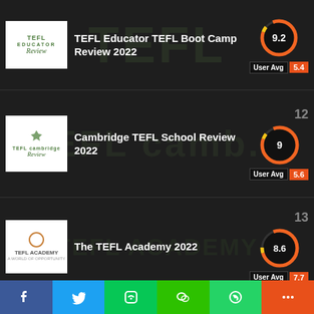TEFL Educator TEFL Boot Camp Review 2022
Cambridge TEFL School Review 2022
The TEFL Academy 2022
ITEFL Review 2022
f  Twitter  LINE  WeChat  WhatsApp  +